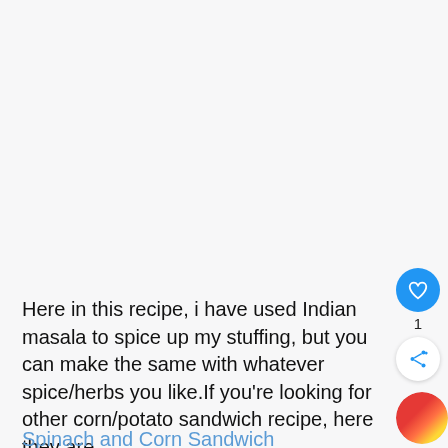[Figure (photo): Large blank/white-gray area at top of page, likely a food photo that is not loaded or cropped out]
Here in this recipe, i have used Indian masala to spice up my stuffing, but you can make the same with whatever spice/herbs you like.If you're looking for other corn/potato sandwich recipe, here they are
Spinach and Corn Sandwich